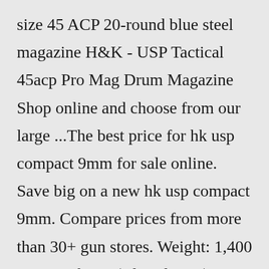size 45 ACP 20-round blue steel magazine H&K - USP Tactical 45acp Pro Mag Drum Magazine Shop online and choose from our large ...The best price for hk usp compact 9mm for sale online. Save big on a new hk usp compact 9mm. Compare prices from more than 30+ gun stores. Weight: 1,400 gr. Length: 47 (Closed Max) – 57 (Open Max) cm. Width: 6.5 cm. Height: 14 cm. Beware of copies! Many sellers are selling an airsoft version of the Dawife which is made from...